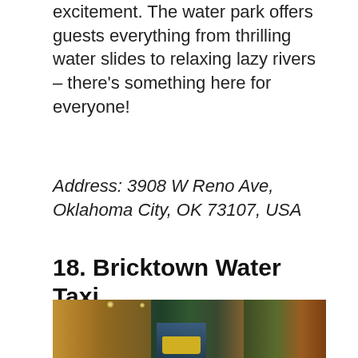excitement. The water park offers guests everything from thrilling water slides to relaxing lazy rivers – there's something here for everyone!
Address: 3908 W Reno Ave, Oklahoma City, OK 73107, USA
18. Bricktown Water Taxi
[Figure (photo): Aerial/elevated view of Bricktown canal at night with a water taxi boat in the center, restaurants and buildings on the left, trees with autumn foliage on the right, colorful lights reflecting on the water.]